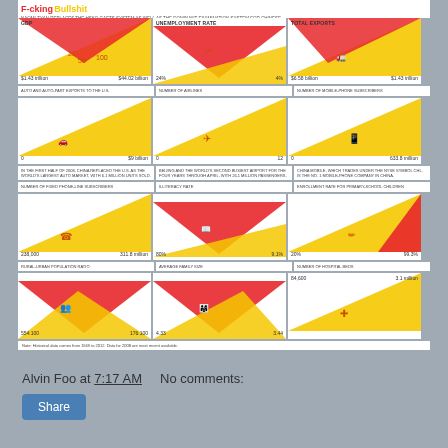[Figure (infographic): Infographic comparing economic statistics between two countries/time periods, showing GDP ($1.43 trillion vs $44.02 billion), Unemployment Rate (24% vs 4%), Total Exports ($6.58 billion vs $1.43 trillion), Auto and Auto-Part Exports to the U.S. (0 to $9 billion), Number of Airlines (0 to 12), Number of Mobile-Phone Subscribers (0 to 633.8 million), Number of Fixed Phone-Line Subscribers (238,000 to 311.8 million), Illiteracy Rate (80% to 9.1%), Enrollment Rate for Primary-School Children (20% to 99.3%), Rural-Urban Population Ratio (554:100 to 176:100), Average Family Size (4.33 to 3.44), Number of Hospital Beds (84,600 to 3.1 million). Yellow upward triangles and red downward triangles represent positive and negative trends respectively.]
Alvin Foo at 7:17 AM    No comments:
Share